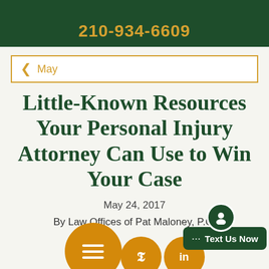210-934-6609
May
Little-Known Resources Your Personal Injury Attorney Can Use to Win Your Case
May 24, 2017
By Law Offices of Pat Maloney, P.C.